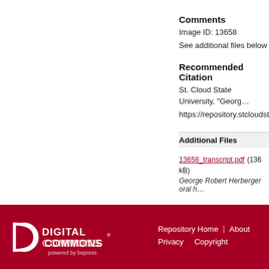Comments
Image ID: 13658
See additional files below
Recommended Citation
St. Cloud State University, "Georg…
https://repository.stcloudstate.edu…
Additional Files
13658_transcript.pdf (136 kB)
George Robert Herberger oral h…
DIGITAL COMMONS powered by bepress | Repository Home | About | Privacy | Copyright